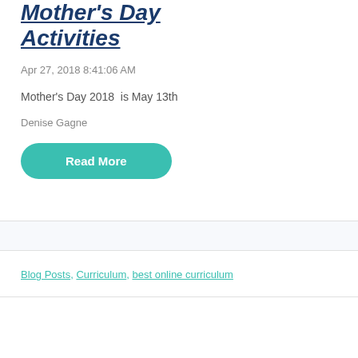Mother's Day Activities
Apr 27, 2018 8:41:06 AM
Mother's Day 2018  is May 13th
Denise Gagne
Read More
Blog Posts, Curriculum, best online curriculum